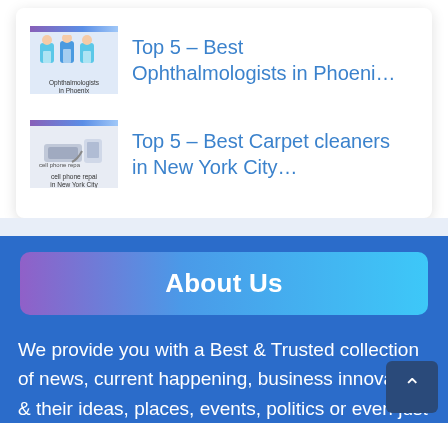Top 5 – Best Ophthalmologists in Phoeni…
Top 5 – Best Carpet cleaners in New York City…
About Us
We provide you with a Best & Trusted collection of news, current happening, business innovators & their ideas, places, events, politics or even just